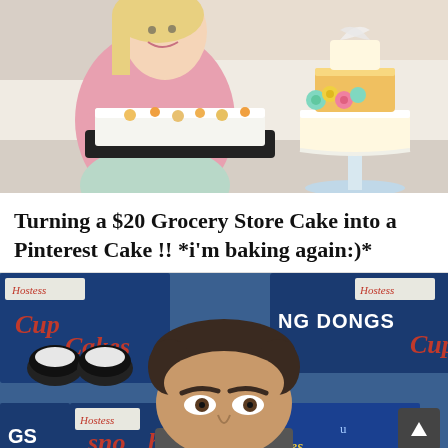[Figure (photo): Woman in pink top smiling and holding a white frosted grocery store sheet cake on a black tray; to the right is a tall decorative Pinterest-style layer cake with colorful flowers]
Turning a $20 Grocery Store Cake into a Pinterest Cake !! *i'm baking again:)*
[Figure (photo): Man's face peeking up from below surrounded by Hostess snack food boxes including CupCakes, Ding Dongs, Sno Balls, and HoHos packages]